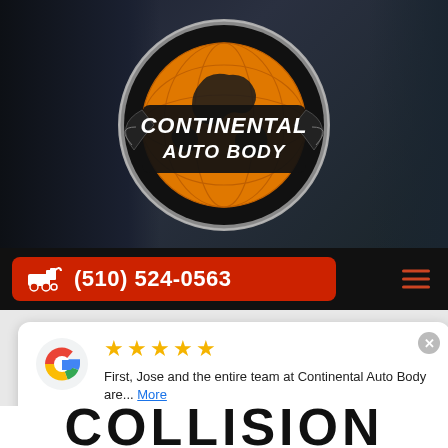[Figure (logo): Continental Auto Body logo — orange globe on black circular badge with silver wings and italic white text reading 'Continental Auto Body']
(510) 524-0563
[Figure (other): Google review card showing 5 stars and review text: 'First, Jose and the entire team at Continental Auto Body are... More' by reviewer 'ato houston']
COLLISION